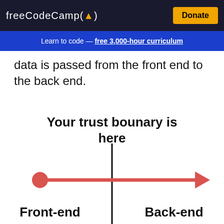freeCodeCamp(🔥)  Donate
Learn to code — free 3,000-hour curriculum
data is passed from the front end to the back end.
[Figure (infographic): Diagram showing a trust boundary with a vertical black line dividing front-end (left) and back-end (right). A red horizontal arrow points from a red circle on the left through the boundary to the right, indicating data flow. Text above reads 'Your trust bounary is here'. Labels at bottom read 'Front-end' on left and 'Back-end' on right.]